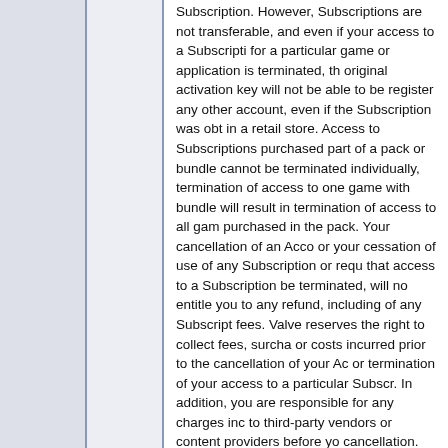Subscription. However, Subscriptions are not transferable, and even if your access to a Subscription for a particular game or application is terminated, the original activation key will not be able to be registered any other account, even if the Subscription was obtained in a retail store. Access to Subscriptions purchased as part of a pack or bundle cannot be terminated individually, termination of access to one game within a bundle will result in termination of access to all games purchased in the pack. Your cancellation of an Account, or your cessation of use of any Subscription or request that access to a Subscription be terminated, will not entitle you to any refund, including of any Subscription fees. Valve reserves the right to collect fees, surcharges or costs incurred prior to the cancellation of your Account or termination of your access to a particular Subscription. In addition, you are responsible for any charges incurred to third-party vendors or content providers before your cancellation.
C. Termination by Valve
Valve may cancel your Account or any particular Subscription(s) at any time in the event that (a) Valve ceases providing such Subscriptions to similarly situated Subscribers generally, or (b) you breach any terms of this Agreement (including any Subscription Terms or Rules of Use). In the event that your Account or a particular Subscription is terminated or cancelled by Valve for a violation of this Agreement or improper or illegal activity, no refund, including of any Subscription